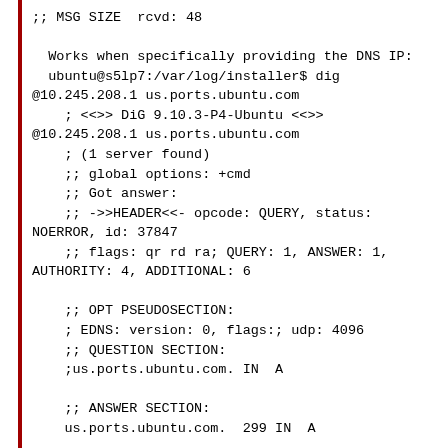;; MSG SIZE  rcvd: 48

  Works when specifically providing the DNS IP:
  ubuntu@s5lp7:/var/log/installer$ dig @10.245.208.1 us.ports.ubuntu.com
    ; <<>> DiG 9.10.3-P4-Ubuntu <<>>
@10.245.208.1 us.ports.ubuntu.com
    ; (1 server found)
    ;; global options: +cmd
    ;; Got answer:
    ;; ->>HEADER<<- opcode: QUERY, status: NOERROR, id: 37847
    ;; flags: qr rd ra; QUERY: 1, ANSWER: 1, AUTHORITY: 4, ADDITIONAL: 6

    ;; OPT PSEUDOSECTION:
    ; EDNS: version: 0, flags:; udp: 4096
    ;; QUESTION SECTION:
    ;us.ports.ubuntu.com. IN  A

    ;; ANSWER SECTION:
    us.ports.ubuntu.com.  299 IN  A